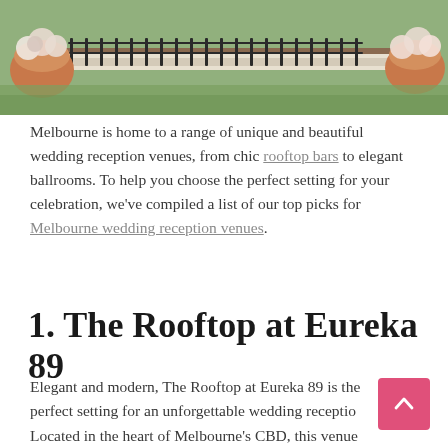[Figure (photo): Photograph of an outdoor wedding reception table setting with flowers in terracotta pots, long wooden tables with black metal chairs on grass.]
Melbourne is home to a range of unique and beautiful wedding reception venues, from chic rooftop bars to elegant ballrooms. To help you choose the perfect setting for your celebration, we've compiled a list of our top picks for Melbourne wedding reception venues.
1. The Rooftop at Eureka 89
Elegant and modern, The Rooftop at Eureka 89 is the perfect setting for an unforgettable wedding reception. Located in the heart of Melbourne's CBD, this venue